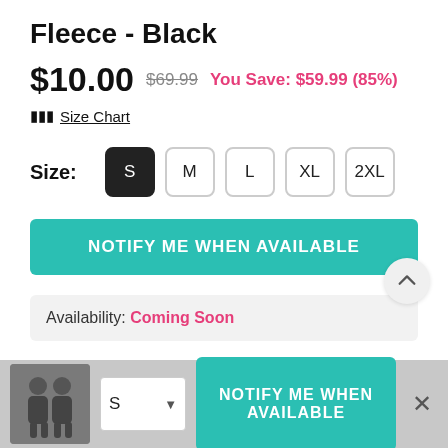Fleece - Black
$10.00  $69.99  You Save: $59.99 (85%)
Size Chart
Size:  S  M  L  XL  2XL
NOTIFY ME WHEN AVAILABLE
Availability: Coming Soon
NOTIFY ME WHEN AVAILABLE